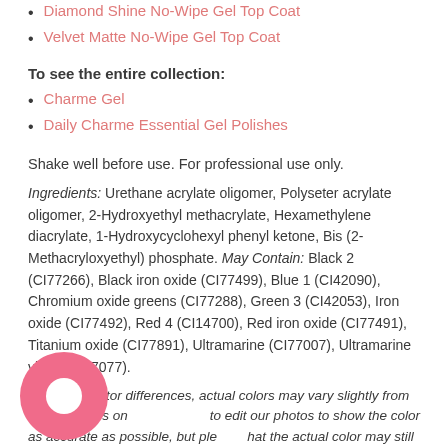Diamond Shine No-Wipe Gel Top Coat
Velvet Matte No-Wipe Gel Top Coat
To see the entire collection:
Charme Gel
Daily Charme Essential Gel Polishes
Shake well before use. For professional use only.
Ingredients: Urethane acrylate oligomer, Polyseter acrylate oligomer, 2-Hydroxyethyl methacrylate, Hexamethylene diacrylate, 1-Hydroxycyclohexyl phenyl ketone, Bis (2-Methacryloxyethyl) phosphate. May Contain: Black 2 (CI77266), Black iron oxide (CI77499), Blue 1 (CI42090), Chromium oxide greens (CI77288), Green 3 (CI42053), Iron oxide (CI77492), Red 4 (CI14700), Red iron oxide (CI77491), Titanium oxide (CI77891), Ultramarine (CI77007), Ultramarine violet (CI77077).
*Due to monitor differences, actual colors may vary slightly from what appears on screen. We try to edit our photos to show the color as accurate as possible, but please be aware that the actual color may still vary.